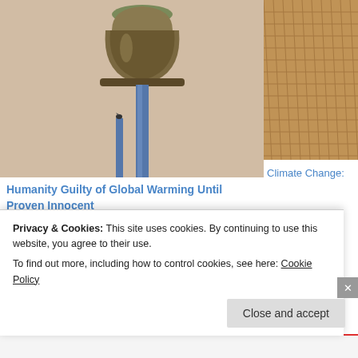[Figure (photo): A bronze bell on a metal pole with a small bird perched on a nearby post, against a beige/tan background sky]
[Figure (photo): Partial view of a structure with grid/mesh pattern in warm orange-brown tones]
Humanity Guilty of Global Warming Until Proven Innocent
Climate Change:
[Figure (photo): Red and white striped circular tent or canopy structure viewed from below/side]
Privacy & Cookies: This site uses cookies. By continuing to use this website, you agree to their use.
To find out more, including how to control cookies, see here: Cookie Policy
Close and accept